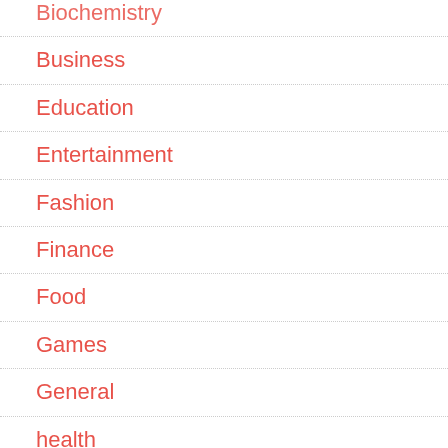Biochemistry
Business
Education
Entertainment
Fashion
Finance
Food
Games
General
health
Home improvement
Pet